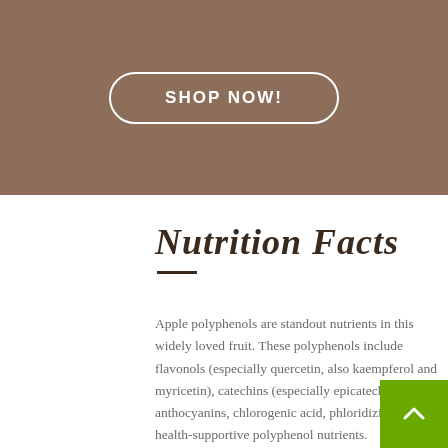[Figure (other): Brown banner with SHOP NOW! button in white rounded rectangle border]
Nutrition Facts
Apple polyphenols are standout nutrients in this widely loved fruit. These polyphenols include flavonols (especially quercetin, also kaempferol and myricetin), catechins (especially epicatechin), anthocyanins, chlorogenic acid, phloridizin, and health-supportive polyphenol nutrients.
Apple is a good source of fiber, including both soluble and insoluble pectins, and it's also a good source of